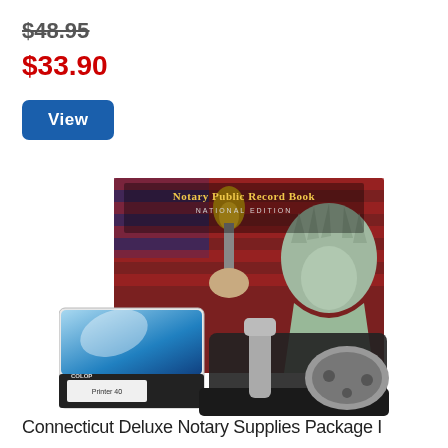$48.95
$33.90
View
[Figure (photo): Product photo showing a Connecticut Deluxe Notary Supplies Package including a Notary Public Record Book (National Edition) with Statue of Liberty on cover, a blue self-inking stamp, and a metal embosser/seal press on a black base.]
Connecticut Deluxe Notary Supplies Package I